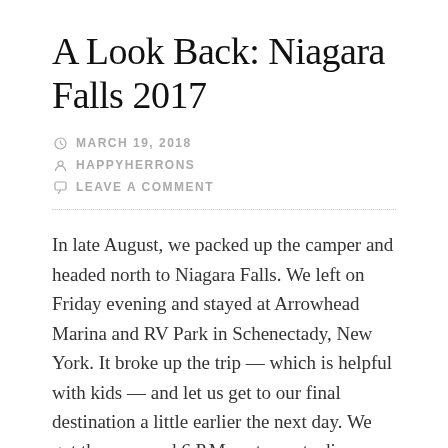A Look Back: Niagara Falls 2017
MARCH 19, 2018
HAPPYHERRONS
LEAVE A COMMENT
In late August, we packed up the camper and headed north to Niagara Falls. We left on Friday evening and stayed at Arrowhead Marina and RV Park in Schenectady, New York. It broke up the trip — which is helpful with kids — and let us get to our final destination a little earlier the next day. We got there around 6 P.M., set up, ate dinner, and checked out the campground a little bit. Our site was not ideal but it